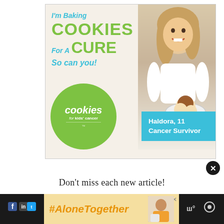[Figure (infographic): Advertisement banner for 'Cookies for Kids' Cancer'. Shows text 'I'm Baking COOKIES For A CURE So can you!' with a green circle logo reading 'cookies for kids' cancer', a teal box saying 'Haldora, 11 Cancer Survivor', and a photo of a smiling girl holding a plate of cookies.]
[Figure (infographic): Close button (X) circle icon for dismissing an ad overlay.]
Don't miss each new article!
[Figure (screenshot): Email address input field with placeholder text 'Email Address...' on a light grey background.]
[Figure (infographic): Bottom banner ad with yellow/cream background showing '#AloneTogether' hashtag in orange italic bold text, a photo of a woman at a desk, and social/navigation icons on dark background sides.]